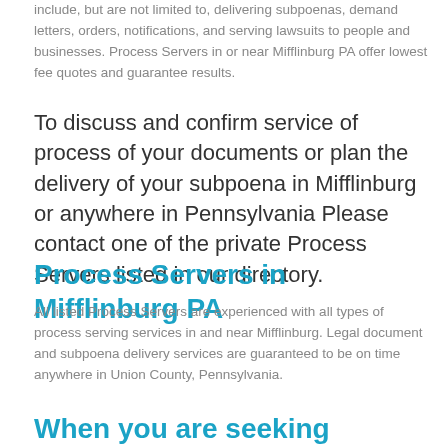include, but are not limited to, delivering subpoenas, demand letters, orders, notifications, and serving lawsuits to people and businesses. Process Servers in or near Mifflinburg PA offer lowest fee quotes and guarantee results.
To discuss and confirm service of process of your documents or plan the delivery of your subpoena in Mifflinburg or anywhere in Pennsylvania Please contact one of the private Process Servers listed in our directory.
Process Servers in Mifflinburg PA
All listed Process Servers are experienced with all types of process serving services in and near Mifflinburg. Legal document and subpoena delivery services are guaranteed to be on time anywhere in Union County, Pennsylvania.
When you are seeking information and